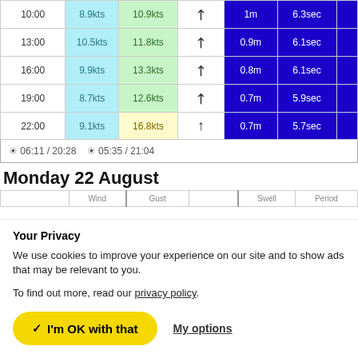| Time | Wind | Gust | Dir | Swell | Period |  |
| --- | --- | --- | --- | --- | --- | --- |
| 10:00 | 8.9kts | 10.9kts | ↗ | 1m | 6.3sec |  |
| 13:00 | 10.5kts | 11.8kts | ↗ | 0.9m | 6.1sec |  |
| 16:00 | 9.9kts | 13.3kts | ↗ | 0.8m | 6.1sec |  |
| 19:00 | 8.7kts | 12.6kts | ↗ | 0.7m | 5.9sec |  |
| 22:00 | 9.1kts | 16.8kts | ↑ | 0.7m | 5.7sec |  |
☼ 06:11 / 20:28   ☼: 05:35 / 21:04
Monday 22 August
|  | Wind | Gust |  | Swell | Period |
| --- | --- | --- | --- | --- | --- |
Your Privacy
We use cookies to improve your experience on our site and to show ads that may be relevant to you.
To find out more, read our privacy policy.
✓ I'm OK with that    My options